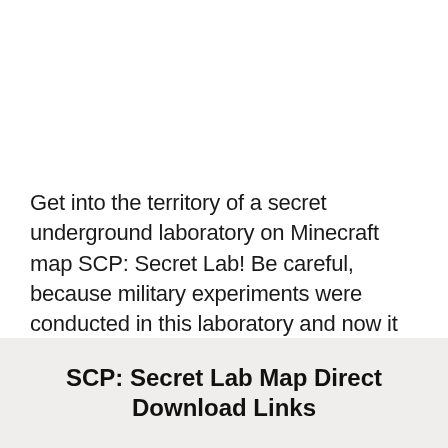Get into the territory of a secret underground laboratory on Minecraft map SCP: Secret Lab! Be careful, because military experiments were conducted in this laboratory and now it is not known what may be waiting for you in the closed rooms.
SCP: Secret Lab Map Direct Download Links